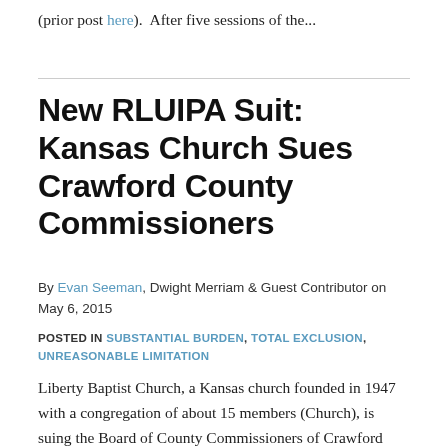(prior post here).  After five sessions of the...
New RLUIPA Suit: Kansas Church Sues Crawford County Commissioners
By Evan Seeman, Dwight Merriam & Guest Contributor on May 6, 2015
POSTED IN SUBSTANTIAL BURDEN, TOTAL EXCLUSION, UNREASONABLE LIMITATION
Liberty Baptist Church, a Kansas church founded in 1947 with a congregation of about 15 members (Church), is suing the Board of County Commissioners of Crawford County, Kansas over the denial of its application for a conditional use